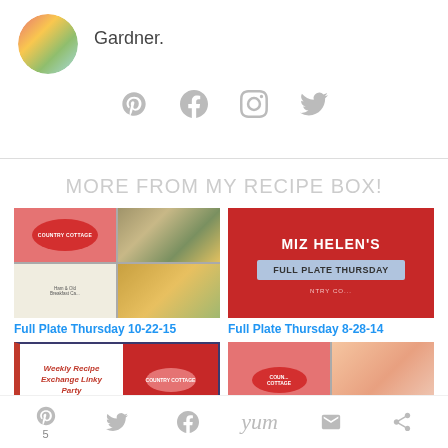[Figure (photo): Circular avatar image with colorful patterns]
Gardner.
[Figure (infographic): Social media icons: Pinterest, Facebook, Instagram, Twitter]
MORE FROM MY RECIPE BOX!
[Figure (photo): Full Plate Thursday 10-22-15 collage of food images with Country Cottage branding]
Full Plate Thursday 10-22-15
[Figure (photo): Miz Helen's Full Plate Thursday red plate image]
Full Plate Thursday 8-28-14
[Figure (photo): Weekly Recipe Exchange Linky Party with Country Cottage branding]
[Figure (photo): Food collage with red plate and pastries]
[Figure (infographic): Share bar with Pinterest, Twitter, Facebook, Yum, email, and other icons. Count: 5]